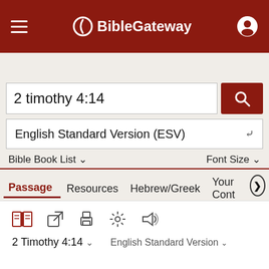BibleGateway
2 timothy 4:14
English Standard Version (ESV)
Bible Book List   Font Size
Passage   Resources   Hebrew/Greek   Your Cont
2 Timothy 4:14   English Standard Version